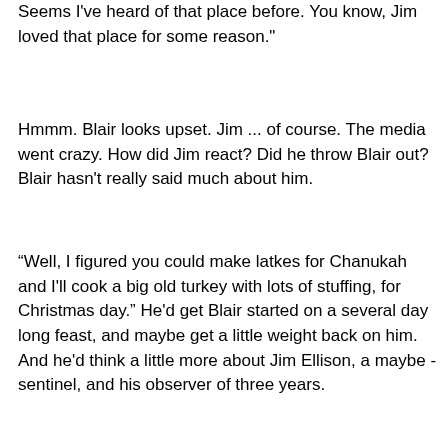Blair gave a tight little grin. "Wonderburger, huh. Seems I've heard of that place before. You know, Jim loved that place for some reason."
Hmmm. Blair looks upset. Jim ... of course. The media went crazy. How did Jim react? Did he throw Blair out? Blair hasn't really said much about him.
“Well, I figured you could make latkes for Chanukah and I'll cook a big old turkey with lots of stuffing, for Christmas day.” He'd get Blair started on a several day long feast, and maybe get a little weight back on him. And he'd think a little more about Jim Ellison, a maybe - sentinel, and his observer of three years.